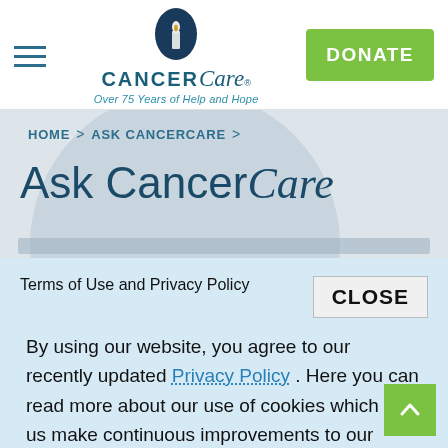[Figure (logo): CancerCare logo with candle icon and tagline 'Over 75 Years of Help and Hope']
DONATE
HOME > ASK CANCERCARE >
Ask CancerCare
Terms of Use and Privacy Policy
CLOSE
By using our website, you agree to our recently updated Privacy Policy . Here you can read more about our use of cookies which help us make continuous improvements to our website. Privacy Policy.